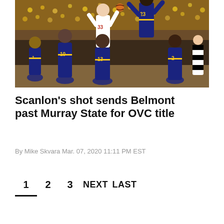[Figure (photo): Basketball game action photo showing players in navy blue and gold uniforms (Murray State) defending against a player in white (Belmont, #33). Players visible include jersey numbers 1, 10, 13, 23, 2. Crowd visible in background.]
Scanlon's shot sends Belmont past Murray State for OVC title
By Mike Skvara Mar. 07, 2020 11:11 PM EST
1
2
3
NEXT
LAST